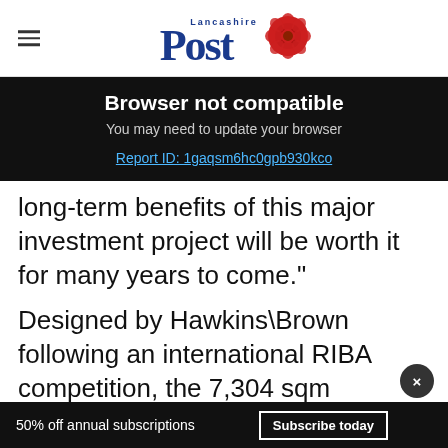Lancashire Post
Browser not compatible
You may need to update your browser
Report ID: 1gaqsm6hc0gpb930kco
long-term benefits of this major investment project will be worth it for many years to come."
Designed by Hawkins\Brown following an international RIBA competition, the 7,304 sqm
Stude... reception area, informal learning spaces and a
[Figure (infographic): Walgreens Photo advertisement: Delivered in as Little as 1 Hr]
50% off annual subscriptions   Subscribe today